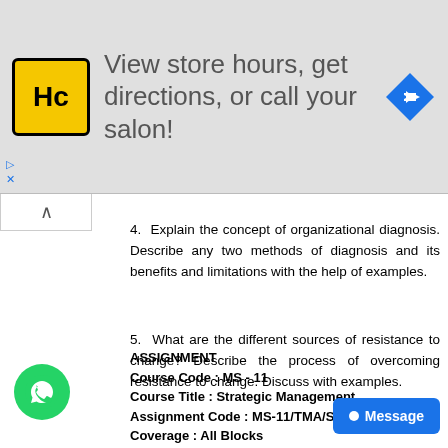[Figure (other): Advertisement banner: HC salon logo, text 'View store hours, get directions, or call your salon!', navigation icon]
4. Explain the concept of organizational diagnosis. Describe any two methods of diagnosis and its benefits and limitations with the help of examples.
5. What are the different sources of resistance to change? Describe the process of overcoming resistance to change. Discuss with examples.
ASSIGNMENT
Course Code : MS - 11
Course Title : Strategic Management
Assignment Code : MS-11/TMA/SEM - II/2015
Coverage : All Blocks
Note: Attempt all the questions and submit this assignment on or before 31 st October 201 5 to the coordinator of